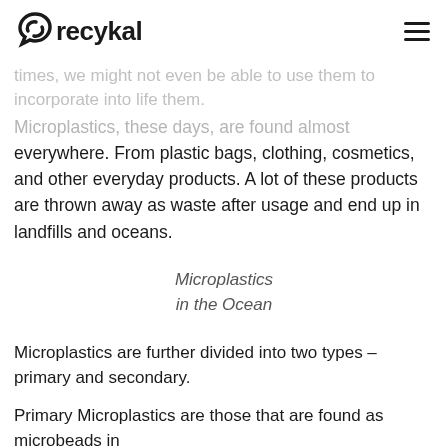recykal
times, we might not even be able to use them to incorporate into life them.
Microplastics, these days, are found almost everywhere. From plastic bags, clothing, cosmetics, and other everyday products. A lot of these products are thrown away as waste after usage and end up in landfills and oceans.
Microplastics
in the Ocean
Microplastics are further divided into two types – primary and secondary.
Primary Microplastics are those that are found as microbeads in
personal care products such as toothpastes,
plastic fibres and in synthetic textiles and